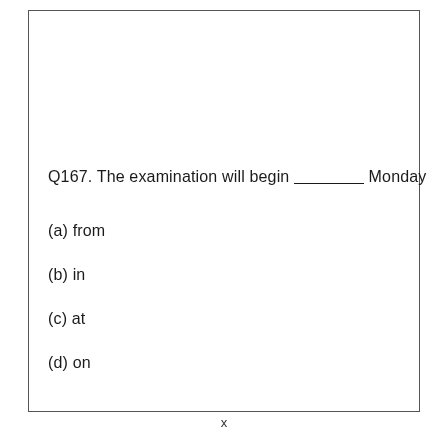Q167. The examination will begin _______ Monday
(a) from
(b) in
(c) at
(d) on
x